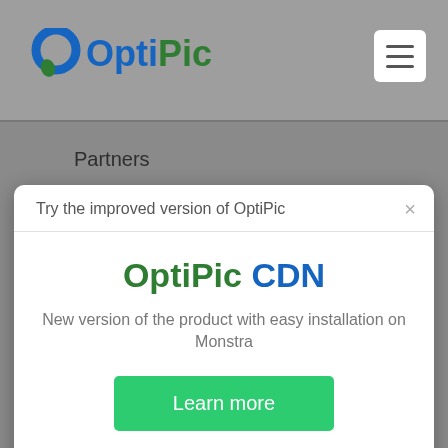[Figure (logo): OptiPic logo with circular icon and green/blue text]
Partners
Blog
help@optipic.io
Try the improved version of OptiPic
OptiPic CDN
New version of the product with easy installation on Monstra
Learn more
Video guide for installation